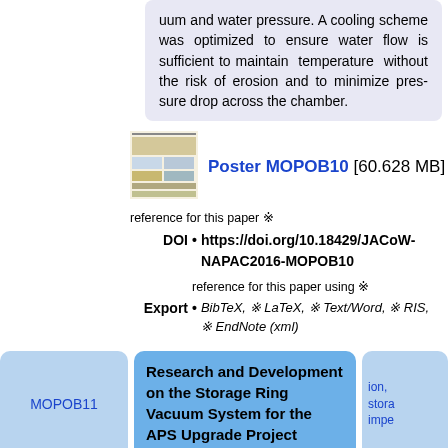uum and water pressure. A cooling scheme was optimized to ensure water flow is sufficient to maintain temperature without the risk of erosion and to minimize pres-sure drop across the chamber.
[Figure (photo): Thumbnail image of a poster (MOPOB10)]
Poster MOPOB10 [60.628 MB]
reference for this paper ※
DOI • https://doi.org/10.18429/JACoW-NAPAC2016-MOPOB10
reference for this paper using ※
Export • BibTeX, ※ LaTeX, ※ Text/Word, ※ RIS, ※ EndNote (xml)
MOPOB11
Research and Development on the Storage Ring Vacuum System for the APS Upgrade Project
ion, stora impе